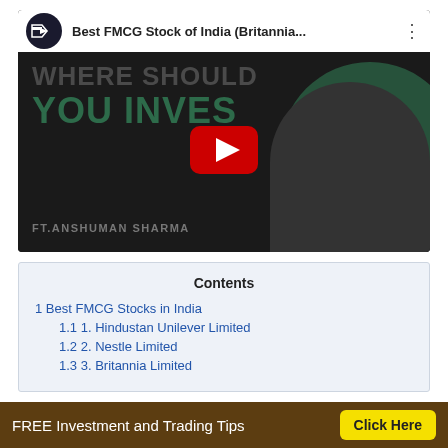[Figure (screenshot): YouTube video thumbnail showing 'Best FMCG Stock of India (Britannia...' with text 'WHERE SHOULD YOU INVEST' and 'FT.ANSHUMAN SHARMA' with a play button overlay]
Contents
1 Best FMCG Stocks in India
1.1 1. Hindustan Unilever Limited
1.2 2. Nestle Limited
1.3 3. Britannia Limited
FREE Investment and Trading Tips   Click Here